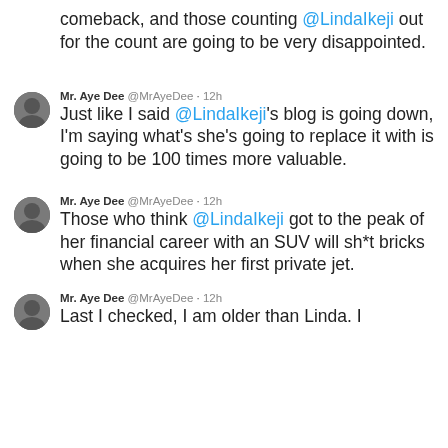comeback, and those counting @LindaIkeji out for the count are going to be very disappointed.
Mr. Aye Dee @MrAyeDee · 12h
Just like I said @LindaIkeji's blog is going down, I'm saying what's she's going to replace it with is going to be 100 times more valuable.
Mr. Aye Dee @MrAyeDee · 12h
Those who think @LindaIkeji got to the peak of her financial career with an SUV will sh*t bricks when she acquires her first private jet.
Mr. Aye Dee @MrAyeDee · 12h
Last I checked, I am older than Linda. I